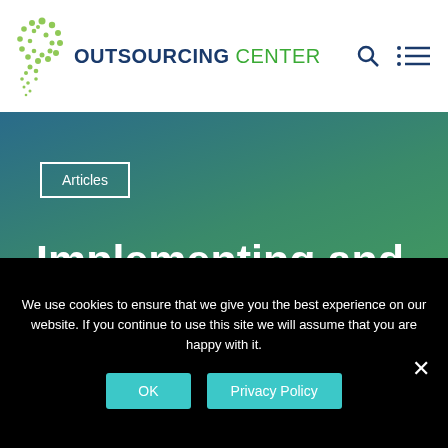OUTSOURCING CENTER
Articles
Implementing and Transitioning into Outsourcing | Article
We use cookies to ensure that we give you the best experience on our website. If you continue to use this site we will assume that you are happy with it.
OK  Privacy Policy